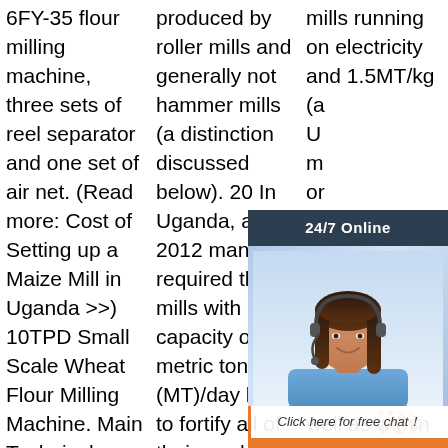6FY-35 flour milling machine, three sets of reel separator and one set of air net. (Read more: Cost of Setting up a Maize Mill in Uganda >>) 10TPD Small Scale Wheat Flour Milling Machine. Main Technical Parameters:
produced by roller mills and generally not hammer mills (a distinction discussed below). 20 In Uganda, a 2012 mandate required that mills with a capacity of 20 metric tons (MT)/day have to fortify all of their product by July 2013, and
mills running on electricity and 1.5MT/kg (a... US$047/t... mills running on electricity... generally... produce... is... the... Pricing varies between, as well as within communities, depending on
[Figure (other): 24/7 Online chat widget with a photo of a female customer service representative wearing a headset, a 'Click here for free chat!' message, and an orange QUOTATION button]